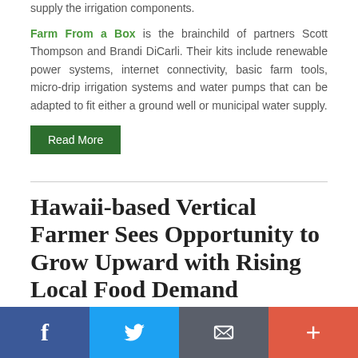supply the irrigation components.
Farm From a Box is the brainchild of partners Scott Thompson and Brandi DiCarli. Their kits include renewable power systems, internet connectivity, basic farm tools, micro-drip irrigation systems and water pumps that can be adapted to fit either a ground well or municipal water supply.
Read More
Hawaii-based Vertical Farmer Sees Opportunity to Grow Upward with Rising Local Food Demand
March 28, 2016 | Abbie Stutzer
[Figure (other): Social sharing bar with Facebook, Twitter, Email, and Plus buttons]